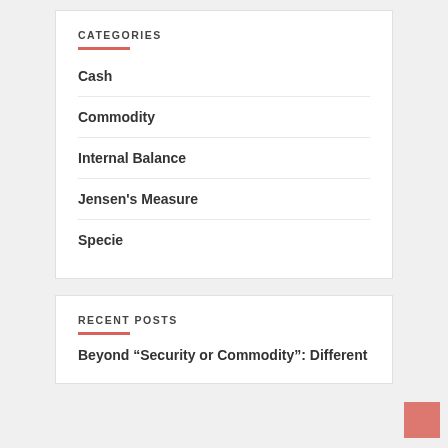CATEGORIES
Cash
Commodity
Internal Balance
Jensen's Measure
Specie
RECENT POSTS
Beyond “Security or Commodity”: Different